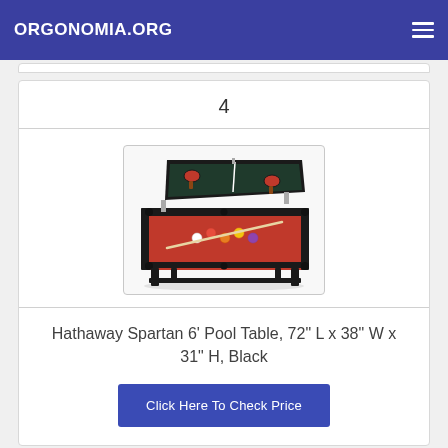ORGONOMIA.ORG
4
[Figure (photo): Hathaway Spartan 6-foot pool table with red felt surface and billiard balls, with a table tennis top partially lifted above it. The table is black with silver accent legs.]
Hathaway Spartan 6' Pool Table, 72" L x 38" W x 31" H, Black
Click Here To Check Price